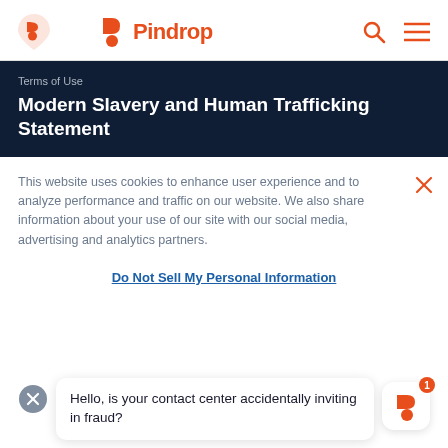Pindrop
Terms of Use
Modern Slavery and Human Trafficking Statement
This website uses cookies to enhance user experience and to analyze performance and traffic on our website. We also share information about your use of our site with our social media, advertising and analytics partners.
Do Not Sell My Personal Information
Hello, is your contact center accidentally inviting in fraud?